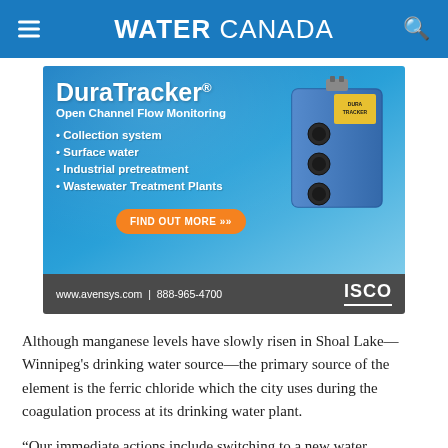WATER CANADA
[Figure (advertisement): DuraTracker Open Channel Flow Monitoring advertisement by ISCO/Avensys. Features a blue electronic monitoring device. Bullet points: Collection system, Surface water, Industrial pretreatment, Wastewater Treatment Plants. CTA button: FIND OUT MORE. Contact: www.avensys.com | 888-965-4700]
Although manganese levels have slowly risen in Shoal Lake—Winnipeg's drinking water source—the primary source of the element is the ferric chloride which the city uses during the coagulation process at its drinking water plant.
“Our immediate actions include switching to a new water treatment product that contains lower levels of manganese,